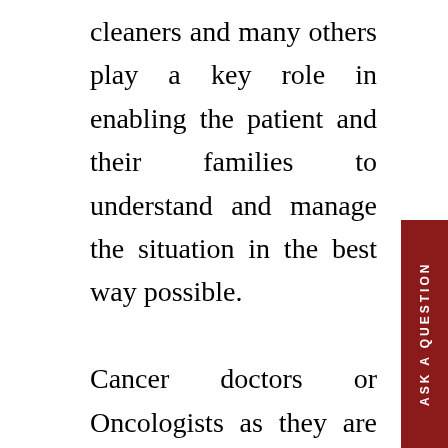cleaners and many others play a key role in enabling the patient and their families to understand and manage the situation in the best way possible.

Cancer doctors or Oncologists as they are called play a central role in this process. How they receive, interact, discuss, plan, and implement treatment, defines the route this cancer journey takes. Most healthcare professionals are hardworking and do a good job in this process. Some are exceptional and excel in the process. Here is one such experience.